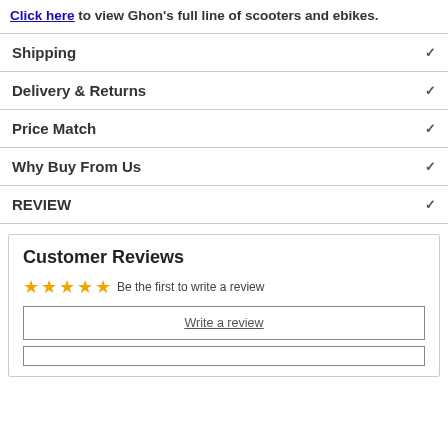Click here to view Ghon's full line of scooters and ebikes.
Shipping
Delivery & Returns
Price Match
Why Buy From Us
REVIEW
Customer Reviews
☆☆☆☆☆ Be the first to write a review
Write a review